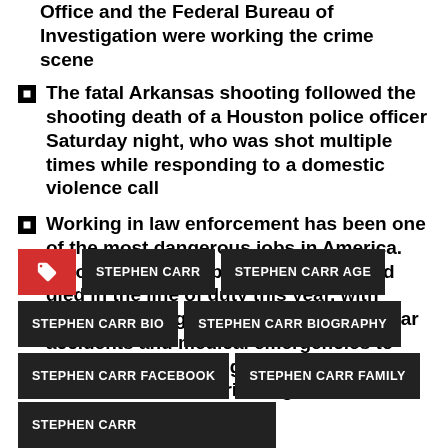Office and the Federal Bureau of Investigation were working the crime scene
The fatal Arkansas shooting followed the shooting death of a Houston police officer Saturday night, who was shot multiple times while responding to a domestic violence call
Working in law enforcement has been one of the most dangerous jobs in America. As of early December, 113 officers had died in the line of duty this year, with causes running the gamut from vehicular accidents and medical emergencies to homicides, according to data from the Officer Down Memorial Page
STEPHEN CARR
STEPHEN CARR AGE
STEPHEN CARR BIO
STEPHEN CARR BIOGRAPHY
STEPHEN CARR FACEBOOK
STEPHEN CARR FAMILY